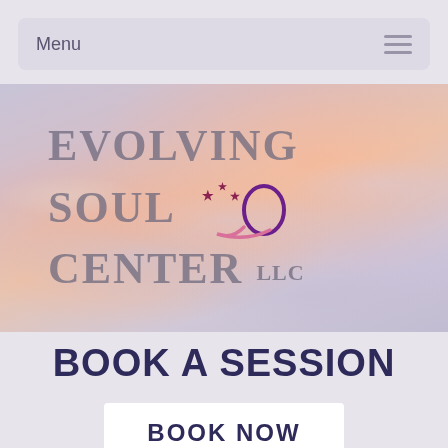Menu
[Figure (logo): Evolving Soul Center LLC logo on a sky/clouds background with decorative stars and swirl graphic]
BOOK A SESSION
BOOK NOW